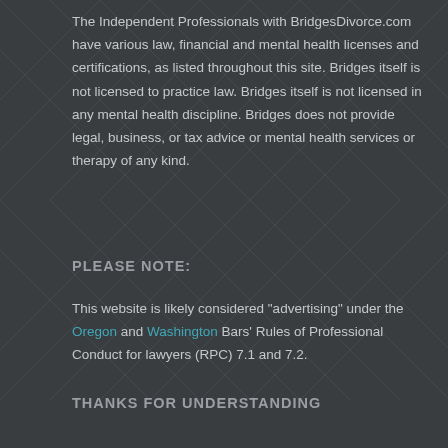The Independent Professionals with BridgesDivorce.com have various law, financial and mental health licenses and certifications, as listed throughout this site. Bridges itself is not licensed to practice law. Bridges itself is not licensed in any mental health discipline. Bridges does not provide legal, business, or tax advice or mental health services or therapy of any kind.
PLEASE NOTE:
This website is likely considered "advertising" under the Oregon and Washington Bars' Rules of Professional Conduct for lawyers (RPC) 7.1 and 7.2.
THANKS FOR UNDERSTANDING